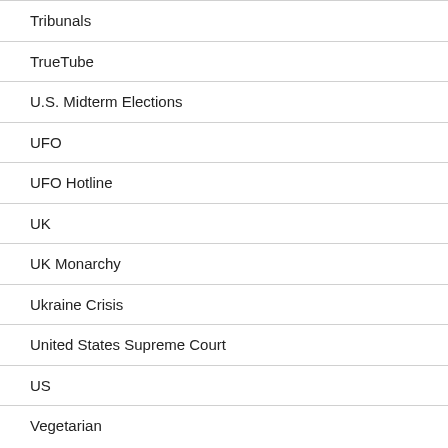Tribunals
TrueTube
U.S. Midterm Elections
UFO
UFO Hotline
UK
UK Monarchy
Ukraine Crisis
United States Supreme Court
US
Vegetarian